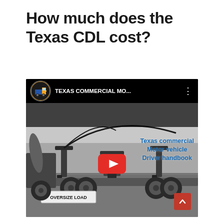How much does the Texas CDL cost?
[Figure (screenshot): YouTube video thumbnail showing a Texas Commercial Motor Vehicle Driver Handbook video with a black and white image of a flatbed truck with an oversize load sign, channel icon showing a colorful truck, and a red YouTube play button in the center. Blue text overlay reads 'Texas commercial Motor vehicle Driver handbook'.]